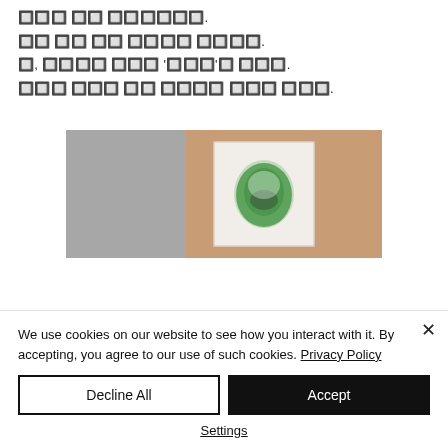한국어 텍스트 블록 (blurred/redacted Korean text across 4 lines)
[Figure (photo): A blurred photograph showing what appears to be a framed artwork or print with a green plant/tree silhouette against a white background, placed on a wooden surface, with gray background on the left side.]
We use cookies on our website to see how you interact with it. By accepting, you agree to our use of such cookies. Privacy Policy
Decline All
Accept
Settings